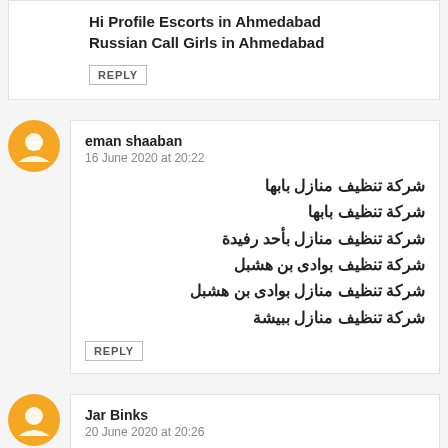Hi Profile Escorts in Ahmedabad
Russian Call Girls in Ahmedabad
REPLY
eman shaaban
16 June 2020 at 20:22
شركة تنظيف منازل بابها
شركة تنظيف بابها
شركة تنظيف منازل بأحد رفيدة
شركة تنظيف بوادى بن هشبل
شركة تنظيف منازل بوادى بن هشبل
شركة تنظيف منازل ببيشة
REPLY
Jar Binks
20 June 2020 at 20:26
Producing and editing a masterwork of recorded music is obviously a specialized art